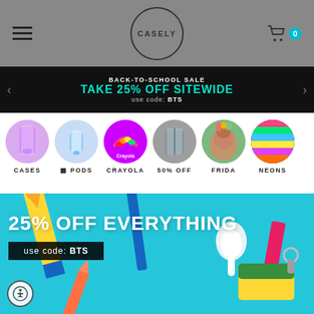[Figure (screenshot): Casely website header with hamburger menu, circular CASELY logo, and cart icon with 0 items]
BACK-TO-SCHOOL SALE
TAKE 25% OFF SITEWIDE
use code: BTS
[Figure (infographic): Category navigation row with circular thumbnails: CASES, PODS, CRAYOLA, 50% OFF, FRIDA, NEONS]
[Figure (photo): Hero banner showing colorful school/art supplies on teal background with text '25% OFF EVERYTHING use code: BTS']